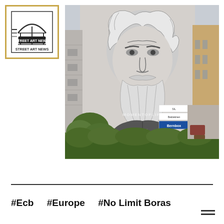[Figure (logo): Street Art News logo — monochrome illustration of a building/dome with text 'STREET ART NEWS' inside a square border with gold/tan frame]
[Figure (photo): Large street art mural on the side of a building depicting an elderly man with long white hair and beard, highly detailed black and white linework. Text 'MOMENTOFLIFE' visible on the chest area. Several small signs visible on the building. Trees and shrubs in foreground, another building visible to the right. Photo taken outdoors.]
#Ecb   #Europe   #No Limit Boras